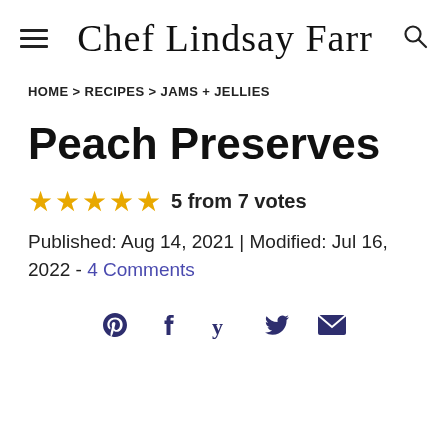Chef Lindsay Farr
HOME > RECIPES > JAMS + JELLIES
Peach Preserves
5 from 7 votes
Published: Aug 14, 2021 | Modified: Jul 16, 2022 - 4 Comments
[Figure (other): Social share icons: Pinterest, Facebook, Yummly, Twitter, Email]